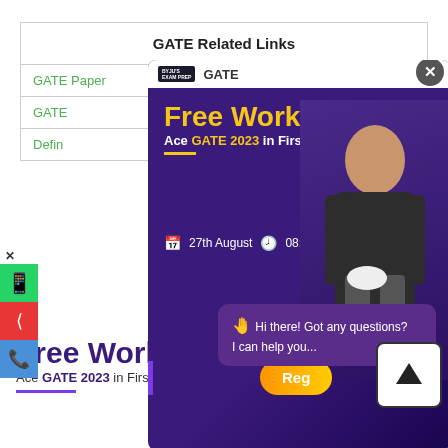| GATE Related Links |
| --- |
| GATE Paper | GATE Cs Syllabus |
| GATE... |  |
| Definition... |  |
[Figure (screenshot): BYJU'S GATE Free Workshop popup modal with purple background, showing 'Free Workshop - Ace GATE 2023 in First Attempt', date 27th August, time 08:00 PM, with a person holding a book, close button top right]
[Figure (screenshot): Chat bubble saying 'Hi there! Got any questions? I can help you...' with wave emoji, orange Register button, scroll-up arrow button]
Free Workshop
Ace GATE 2023 in First Attempt